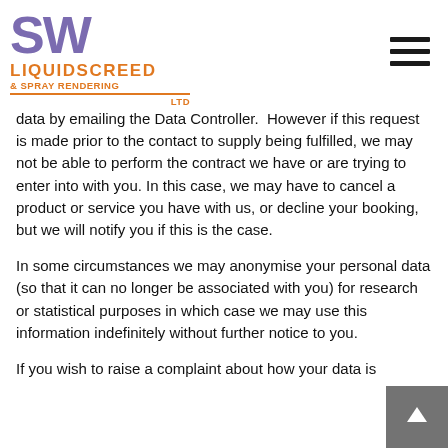[Figure (logo): SW Liquid Screed & Spray Rendering Ltd company logo with purple SW text and orange company name]
data by emailing the Data Controller.  However if this request is made prior to the contact to supply being fulfilled, we may not be able to perform the contract we have or are trying to enter into with you. In this case, we may have to cancel a product or service you have with us, or decline your booking, but we will notify you if this is the case.
In some circumstances we may anonymise your personal data (so that it can no longer be associated with you) for research or statistical purposes in which case we may use this information indefinitely without further notice to you.
If you wish to raise a complaint about how your data is